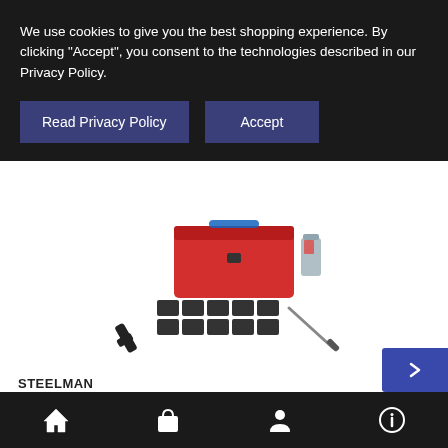We use cookies to give you the best shopping experience. By clicking "Accept", you consent to the technologies described in our Privacy Policy.
Read Privacy Policy
Accept
[Figure (photo): Steelman tire repair plug and patch kit product photo showing a red toolbox, tire patches, repair tools, and a small bottle]
STEELMAN
Passenger Vehicle Tire Repair Plug and Patch Kit